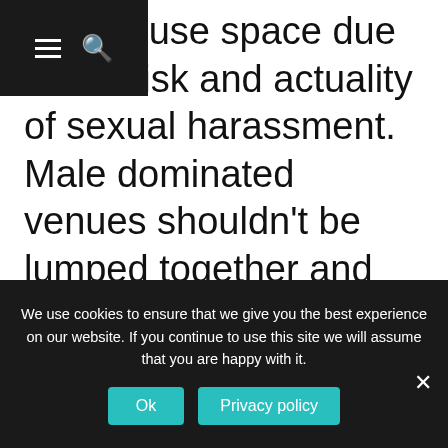≡  🔍
people use space due to the risk and actuality of sexual harassment. Male dominated venues shouldn't be lumped together and sexual entertainment venues have no place in the city centre as many women feel uncomfortable walking past them as there is an increased
We use cookies to ensure that we give you the best experience on our website. If you continue to use this site we will assume that you are happy with it.
Ok   Privacy policy